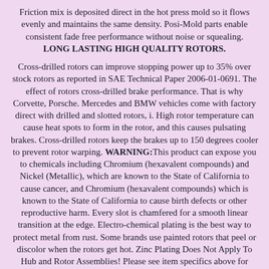Friction mix is deposited direct in the hot press mold so it flows evenly and maintains the same density. Posi-Mold parts enable consistent fade free performance without noise or squealing. LONG LASTING HIGH QUALITY ROTORS.
Cross-drilled rotors can improve stopping power up to 35% over stock rotors as reported in SAE Technical Paper 2006-01-0691. The effect of rotors cross-drilled brake performance. That is why Corvette, Porsche. Mercedes and BMW vehicles come with factory direct with drilled and slotted rotors, i. High rotor temperature can cause heat spots to form in the rotor, and this causes pulsating brakes. Cross-drilled rotors keep the brakes up to 150 degrees cooler to prevent rotor warping. WARNING:This product can expose you to chemicals including Chromium (hexavalent compounds) and Nickel (Metallic), which are known to the State of California to cause cancer, and Chromium (hexavalent compounds) which is known to the State of California to cause birth defects or other reproductive harm. Every slot is chamfered for a smooth linear transition at the edge. Electro-chemical plating is the best way to protect metal from rust. Some brands use painted rotors that peel or discolor when the rotors get hot. Zinc Plating Does Not Apply To Hub and Rotor Assemblies! Please see item specifics above for details on surface finish.
DRILL HOLES PREVENT ROTOR WARPING. Drill holes...